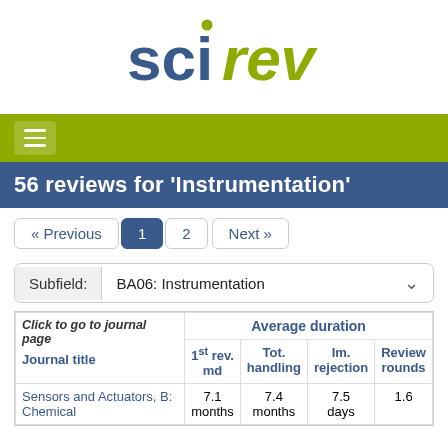[Figure (logo): SciRev logo with blue 'sci' and green 'rev' text and small circle above the 'i']
56 reviews for 'Instrumentation'
« Previous  1  2  Next »
Subfield: BA06: Instrumentation
| Click to go to journal page / Journal title | 1st rev. md | Tot. handling | Im. rejection | Review rounds |
| --- | --- | --- | --- | --- |
| Sensors and Actuators, B: Chemical | 7.1 months | 7.4 months | 7.5 days | 1.6 |